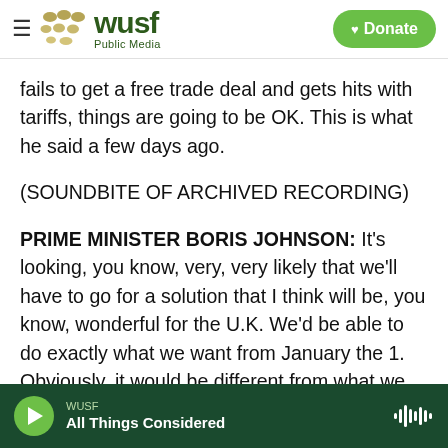[Figure (logo): WUSF Public Media logo with hamburger menu and green Donate button]
fails to get a free trade deal and gets hits with tariffs, things are going to be OK. This is what he said a few days ago.
(SOUNDBITE OF ARCHIVED RECORDING)
PRIME MINISTER BORIS JOHNSON: It's looking, you know, very, very likely that we'll have to go for a solution that I think will be, you know, wonderful for the U.K. We'd be able to do exactly what we want from January the 1. Obviously, it would be different from what we set out to achieve, but I've no doubt this country can get ready.
WUSF — All Things Considered